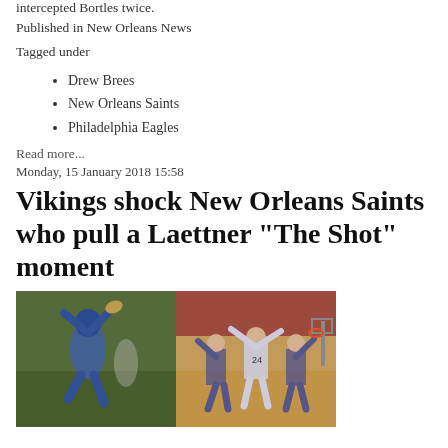intercepted Bortles twice.
Published in New Orleans News
Tagged under
Drew Brees
New Orleans Saints
Philadelphia Eagles
Read more...
Monday, 15 January 2018 15:58
Vikings shock New Orleans Saints who pull a Laettner "The Shot" moment
[Figure (photo): Two side-by-side sports photos: left shows a football player catching/intercepting a ball outdoors on a green field; right shows basketball players on an indoor court.]